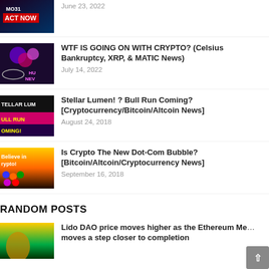[Figure (photo): Thumbnail image partially visible at top - dark theme with 'ACT NOW' text]
June 23, 2022
[Figure (photo): Thumbnail with crypto logos including Celsius, XRP symbols]
WTF IS GOING ON WITH CRYPTO? (Celsius Bankruptcy, XRP, & MATIC News)
July 14, 2022
[Figure (photo): Thumbnail with 'STELLAR LUMEN' and 'BULL RUN COMING!' text]
Stellar Lumen! ? Bull Run Coming? [Cryptocurrency/Bitcoin/Altcoin News]
August 24, 2018
[Figure (photo): Thumbnail with 'Believe in crypto!' and various crypto logos]
Is Crypto The New Dot-Com Bubble? [Bitcoin/Altcoin/Cryptocurrency News]
September 16, 2018
RANDOM POSTS
[Figure (photo): Thumbnail for Lido DAO article]
Lido DAO price moves higher as the Ethereum Merge moves a step closer to completion